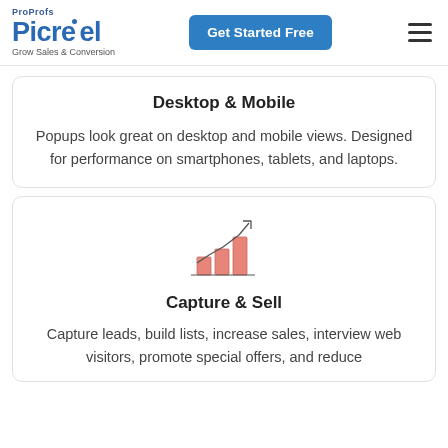ProProfs Picreel — Grow Sales & Conversion | Get Started Free
Desktop & Mobile
Popups look great on desktop and mobile views. Designed for performance on smartphones, tablets, and laptops.
[Figure (infographic): Bar chart icon with upward trending arrow line, bars in salmon/pink color]
Capture & Sell
Capture leads, build lists, increase sales, interview web visitors, promote special offers, and reduce